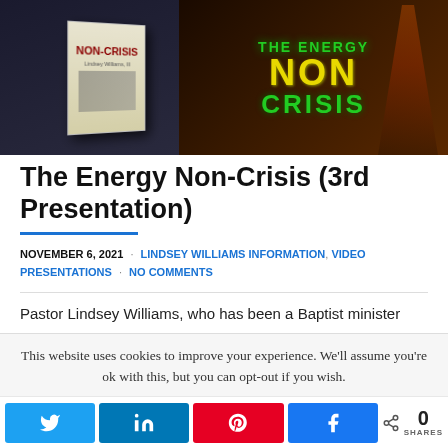[Figure (photo): Banner image showing book cover 'NON-CRISIS' by Lindsey Williams on left, and dark background with text 'THE ENERGY NON CRISIS' in green and yellow on right with oil derrick silhouette]
The Energy Non-Crisis (3rd Presentation)
NOVEMBER 6, 2021 · LINDSEY WILLIAMS INFORMATION, VIDEO PRESENTATIONS · NO COMMENTS
Pastor Lindsey Williams, who has been a Baptist minister
This website uses cookies to improve your experience. We'll assume you're ok with this, but you can opt-out if you wish.